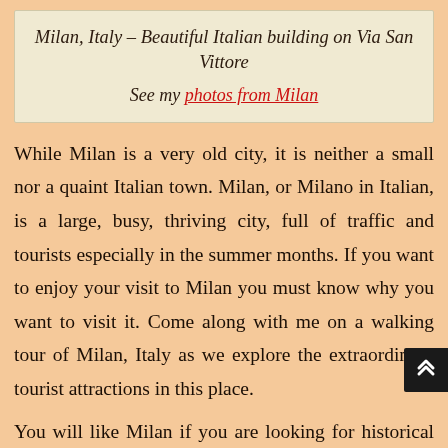Milan, Italy – Beautiful Italian building on Via San Vittore
See my photos from Milan
While Milan is a very old city, it is neither a small nor a quaint Italian town. Milan, or Milano in Italian, is a large, busy, thriving city, full of traffic and tourists especially in the summer months. If you want to enjoy your visit to Milan you must know why you want to visit it. Come along with me on a walking tour of Milan, Italy as we explore the extraordinary tourist attractions in this place.
You will like Milan if you are looking for historical attractions, some high scale shopping and of course good Italian food. We loved walking the streets of Milan